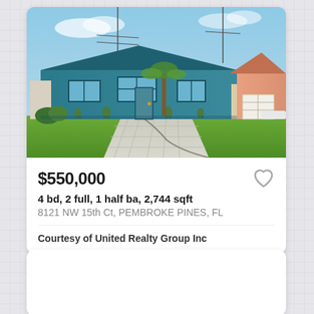[Figure (photo): Exterior photo of a single-story teal/blue house with white trim, wide paved driveway, green lawn, and blue sky. Adjacent pink house with white garage visible on right.]
$550,000
4 bd, 2 full, 1 half ba, 2,744 sqft
8121 NW 15th Ct, PEMBROKE PINES, FL
Courtesy of United Realty Group Inc